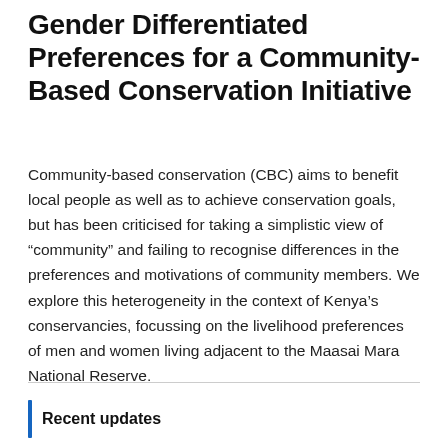Gender Differentiated Preferences for a Community-Based Conservation Initiative
Community-based conservation (CBC) aims to benefit local people as well as to achieve conservation goals, but has been criticised for taking a simplistic view of “community” and failing to recognise differences in the preferences and motivations of community members. We explore this heterogeneity in the context of Kenya’s conservancies, focussing on the livelihood preferences of men and women living adjacent to the Maasai Mara National Reserve.
Recent updates